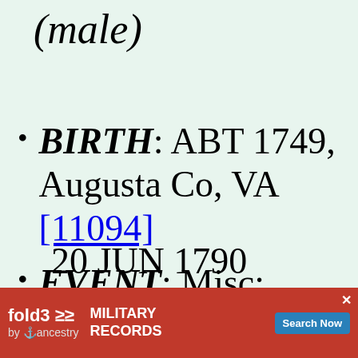(male)
BIRTH: ABT 1749, Augusta Co, VA [11094]
EVENT: Misc: 20 JUN 1790
[Figure (other): Fold3 Military Records advertisement banner with red background, fold3 logo by Ancestry, MILITARY RECORDS text, Search Now button, and photo of soldier]